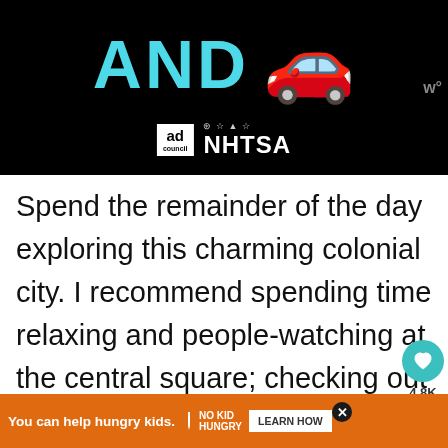[Figure (screenshot): Advertisement banner on black background showing 'AND' in large teal letters and a red cartoon car emoji, with Ad Council and NHTSA logos at the bottom]
Spend the remainder of the day exploring this charming colonial city. I recommend spending time relaxing and people-watching at the central square; checking out the Cathedral de San Gervasio located on the south side of the square; strolling down the
[Figure (screenshot): Orange bottom ad bar reading 'You can help hungry kids. NO KID HUNGRY LEARN HOW' with a close button]